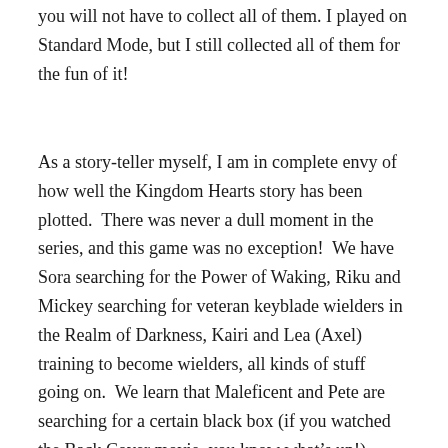you will not have to collect all of them. I played on Standard Mode, but I still collected all of them for the fun of it!
As a story-teller myself, I am in complete envy of how well the Kingdom Hearts story has been plotted.  There was never a dull moment in the series, and this game was no exception!  We have Sora searching for the Power of Waking, Riku and Mickey searching for veteran keyblade wielders in the Realm of Darkness, Kairi and Lea (Axel) training to become wielders, all kinds of stuff going on.  We learn that Maleficent and Pete are searching for a certain black box (if you watched the Back Cover movie, you know what’s up!)  Down in Radiant Garden, Ienzo and a few other ex-Organization XIII are hard at work deciphering the code